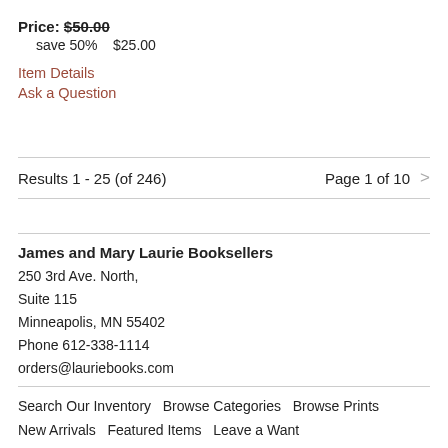Price: $50.00  save 50%  $25.00
Item Details
Ask a Question
Results 1 - 25 (of 246)   Page 1 of 10   >
James and Mary Laurie Booksellers
250 3rd Ave. North,
Suite 115
Minneapolis, MN 55402
Phone 612-338-1114
orders@lauriebooks.com
Search Our Inventory   Browse Categories   Browse Prints   New Arrivals   Featured Items   Leave a Want